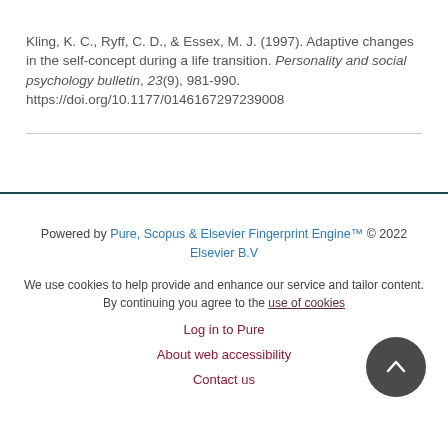Kling, K. C., Ryff, C. D., & Essex, M. J. (1997). Adaptive changes in the self-concept during a life transition. Personality and social psychology bulletin, 23(9), 981-990. https://doi.org/10.1177/0146167297239008
Powered by Pure, Scopus & Elsevier Fingerprint Engine™ © 2022 Elsevier B.V

We use cookies to help provide and enhance our service and tailor content. By continuing you agree to the use of cookies

Log in to Pure

About web accessibility

Contact us